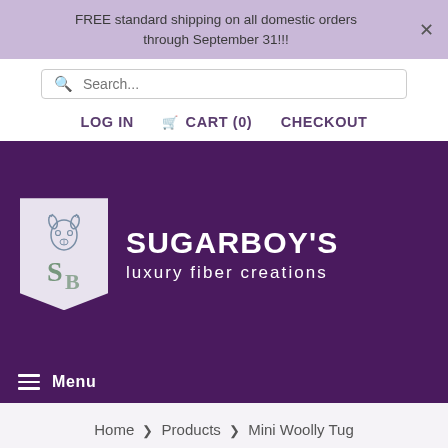FREE standard shipping on all domestic orders through September 31!!!
Search...
LOG IN  CART (0)  CHECKOUT
[Figure (logo): Sugarboy's Luxury Fiber Creations logo: a pennant badge with an alpaca/llama illustration and stylized SB monogram, with large white text 'SUGARBOY'S' and 'luxury fiber creations' on dark purple background]
Menu
Home > Products > Mini Woolly Tug Felted Dog/Cat Toy in Pink Tweed